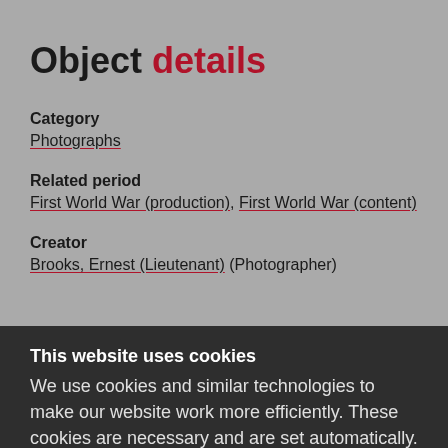Object details
Category
Photographs
Related period
First World War (production), First World War (content)
Creator
Brooks, Ernest (Lieutenant) (Photographer)
This website uses cookies
We use cookies and similar technologies to make our website work more efficiently. These cookies are necessary and are set automatically. We'd also like to use cookies to improve our website based on how you use it and to tailor our marketing to your interests. For more information read our Cookie